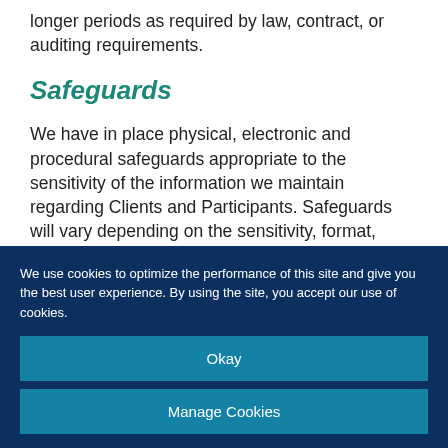longer periods as required by law, contract, or auditing requirements.
Safeguards
We have in place physical, electronic and procedural safeguards appropriate to the sensitivity of the information we maintain regarding Clients and Participants. Safeguards will vary depending on the sensitivity, format, location, amount, distribution and storage of the Personal
We use cookies to optimize the performance of this site and give you the best user experience. By using the site, you accept our use of cookies.
Okay
Manage Cookies